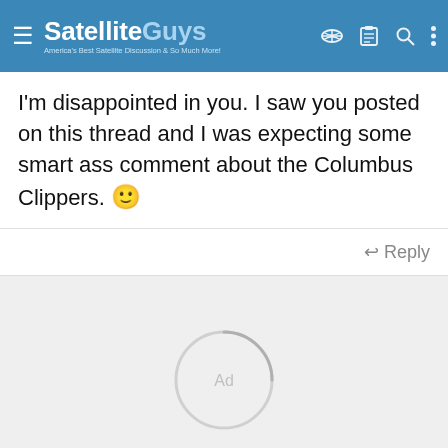SatelliteGuys — America's Best Satellite Discussion & So Much More!
I'm disappointed in you. I saw you posted on this thread and I was expecting some smart ass comment about the Columbus Clippers. 🙂
↩ Reply
[Figure (other): Loading spinner/ad placeholder circle graphic in light gray area below the comment]